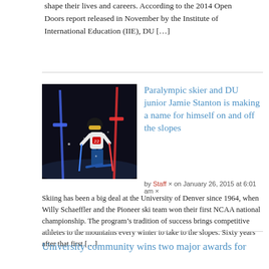shape their lives and careers. According to the 2014 Open Doors report released in November by the Institute of International Education (IIE), DU […]
[Figure (photo): A Paralympic skier in a racing suit and helmet navigating a slalom course at night, surrounded by colored gate poles.]
Paralympic skier and DU junior Jamie Stanton is making a name for himself on and off the slopes
by Staff × on January 26, 2015 at 6:01 am ×
Skiing has been a big deal at the University of Denver since 1964, when Willy Schaeffler and the Pioneer ski team won their first NCAA national championship. The program's tradition of success brings competitive athletes to the mountains every winter to take to the slopes. Sixty years after that first […]
University community wins two major awards for